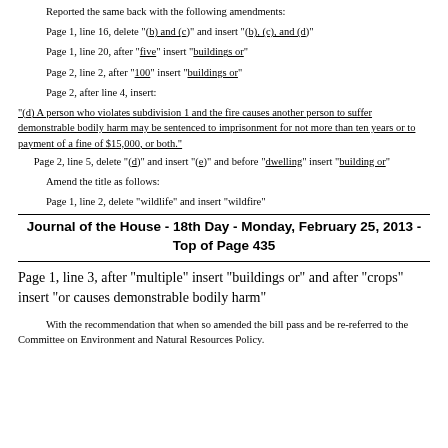Reported the same back with the following amendments:
Page 1, line 16, delete "(b) and (c)" and insert "(b), (c), and (d)"
Page 1, line 20, after "five" insert "buildings or"
Page 2, line 2, after "100" insert "buildings or"
Page 2, after line 4, insert:
"(d) A person who violates subdivision 1 and the fire causes another person to suffer demonstrable bodily harm may be sentenced to imprisonment for not more than ten years or to payment of a fine of $15,000, or both."
Page 2, line 5, delete "(d)" and insert "(e)" and before "dwelling" insert "building or"
Amend the title as follows:
Page 1, line 2, delete "wildlife" and insert "wildfire"
Journal of the House - 18th Day - Monday, February 25, 2013 - Top of Page 435
Page 1, line 3, after "multiple" insert "buildings or" and after "crops" insert "or causes demonstrable bodily harm"
With the recommendation that when so amended the bill pass and be re-referred to the Committee on Environment and Natural Resources Policy.